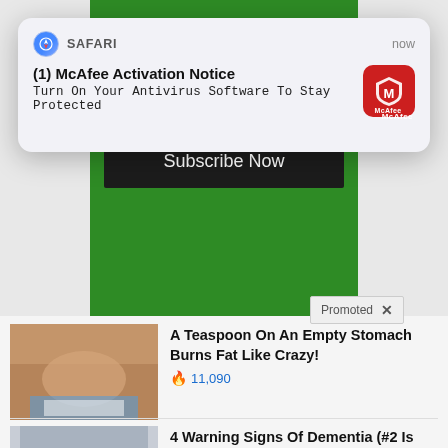[Figure (screenshot): Safari browser push notification popup: '(1) McAfee Activation Notice — Turn On Your Antivirus Software To Stay Protected' with McAfee red icon, overlaying a green newsletter subscription banner with email input and Subscribe Now button, and native advertising widgets below (Promoted): 'A Teaspoon On An Empty Stomach Burns Fat Like Crazy! 11,090' and '4 Warning Signs Of Dementia (#2 Is Scary) 18,885']